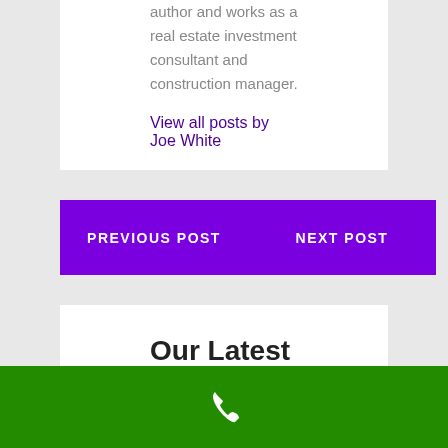author and works as a real estate investment consultant and construction manager.
View all posts by Joe White
PREVIOUS POST
NEXT POST
Our Latest Google Reviews
[Figure (illustration): Green footer bar with white phone icon]